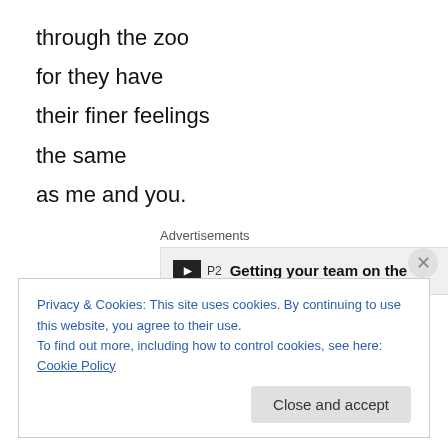through the zoo
for they have
their finer feelings
the same
as me and you.
[Figure (other): Advertisement box with P2 logo and text 'Getting your team on the']
(Yes, we talked about that last line and why it was needed for the rhyme. Ha. And about the saying “a needle in a
Privacy & Cookies: This site uses cookies. By continuing to use this website, you agree to their use.
To find out more, including how to control cookies, see here: Cookie Policy
Close and accept